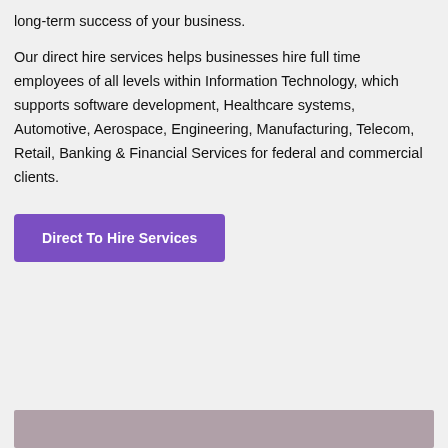long-term success of your business.
Our direct hire services helps businesses hire full time employees of all levels within Information Technology, which supports software development, Healthcare systems, Automotive, Aerospace, Engineering, Manufacturing, Telecom, Retail, Banking & Financial Services for federal and commercial clients.
Direct To Hire Services
[Figure (photo): Partial view of a person's face at the bottom of the page]